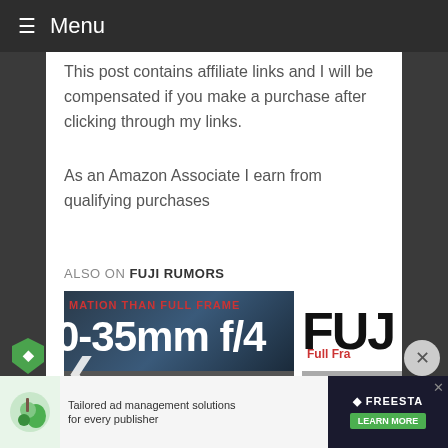≡ Menu
This post contains affiliate links and I will be compensated if you make a purchase after clicking through my links.
As an Amazon Associate I earn from qualifying purchases
ALSO ON FUJI RUMORS
[Figure (screenshot): Two article preview cards side by side. Left card shows '0-35mm f/4' lens article with title 'RUMOR: Fujinon' and '35 comments'. Right card shows 'FUJ' logo with 'Full Fra' label, '9 days ago', and title 'Japanese'.]
[Figure (screenshot): Ad banner at bottom: 'Tailored ad management solutions for every publisher' with FREESTAR logo and LEARN MORE button.]